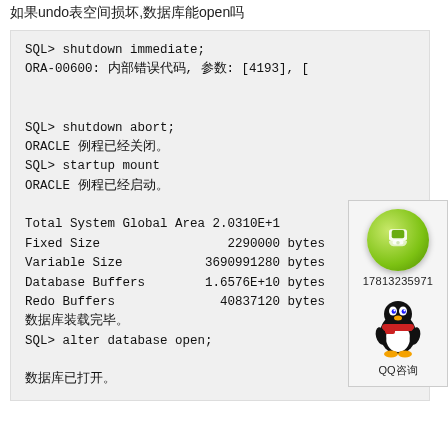如果undo表空间损坏,数据库能open吗
SQL> shutdown immediate;
ORA-00600: 内部错误代码, 参数: [4193], [

SQL> shutdown abort;
ORACLE 例程已经关闭。
SQL> startup mount
ORACLE 例程已经启动。

Total System Global Area 2.0310E+1
Fixed Size                 2290000 bytes
Variable Size           3690991280 bytes
Database Buffers        1.6576E+10 bytes
Redo Buffers              40837120 bytes
数据库装载完毕。
SQL> alter database open;

数据库已打开。